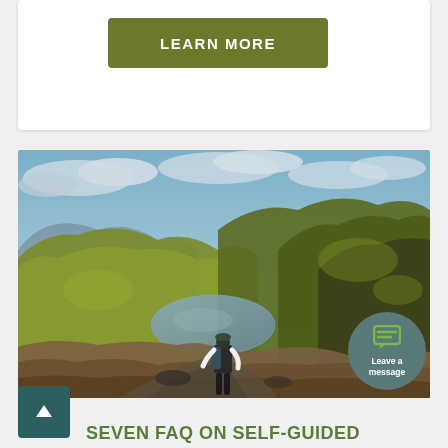[Figure (other): Green button with text LEARN MORE on white card background]
[Figure (photo): A hiker with a backpack standing on rocky terrain overlooking a mountain lake surrounded by green hillsides under a cloudy sky]
SEVEN FAQ ON SELF-GUIDED